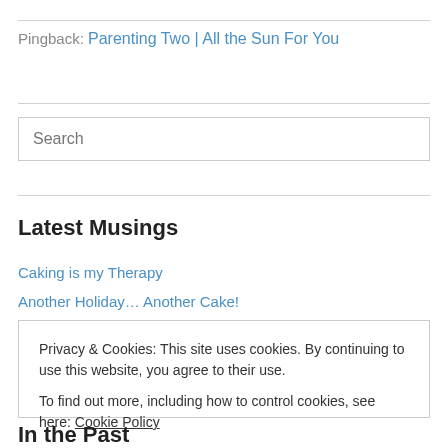Pingback: Parenting Two | All the Sun For You
Search
Latest Musings
Caking is my Therapy
Another Holiday… Another Cake!
Privacy & Cookies: This site uses cookies. By continuing to use this website, you agree to their use.
To find out more, including how to control cookies, see here: Cookie Policy
Close and accept
In the Past